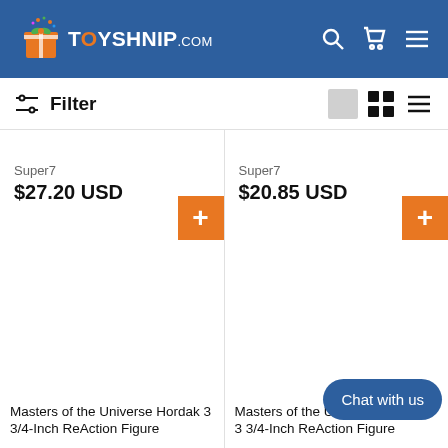TOYSHNIP.com
Filter
Super7
$27.20 USD
Super7
$20.85 USD
Masters of the Universe Hordak 3 3/4-Inch ReAction Figure
Masters of the Universe Grizzlor 3 3/4-Inch ReAction Figure
Chat with us